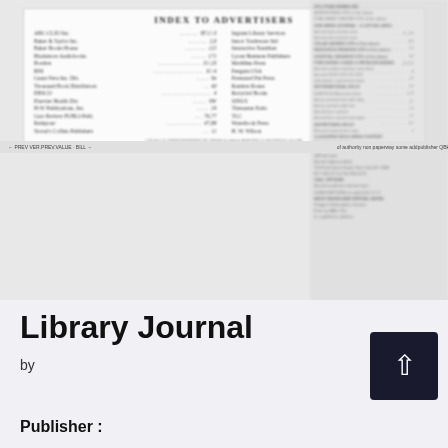[Figure (screenshot): Blurred scanned document page showing an Index to Advertisers from a Library Journal issue, with two columns of advertiser names and page numbers, alongside a right-column sidebar with blurred text.]
Library Journal
by
Publisher :